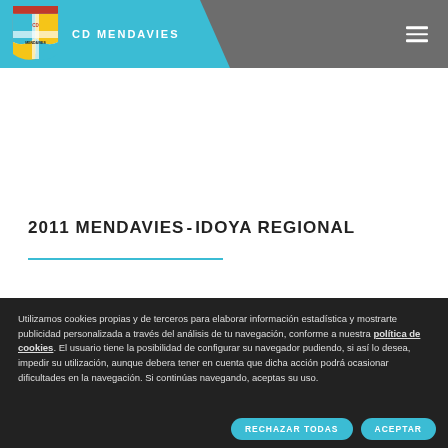CD MENDAVIES
2011 MENDAVIES-IDOYA REGIONAL
Utilizamos cookies propias y de terceros para elaborar información estadística y mostrarte publicidad personalizada a través del análisis de tu navegación, conforme a nuestra política de cookies. El usuario tiene la posibilidad de configurar su navegador pudiendo, si así lo desea, impedir su utilización, aunque debera tener en cuenta que dicha acción podrá ocasionar dificultades en la navegación. Si continúas navegando, aceptas su uso.